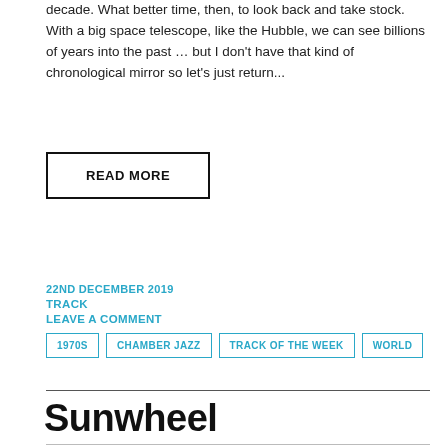decade. What better time, then, to look back and take stock. With a big space telescope, like the Hubble, we can see billions of years into the past … but I don't have that kind of chronological mirror so let's just return...
READ MORE
22ND DECEMBER 2019
TRACK
LEAVE A COMMENT
1970S
CHAMBER JAZZ
TRACK OF THE WEEK
WORLD
Sunwheel